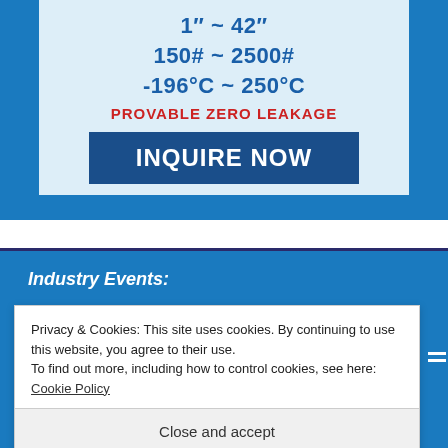[Figure (infographic): Blue banner advertisement showing valve specifications: 1 inch to 42 inch, 150# to 2500#, -196°C to 250°C, PROVABLE ZERO LEAKAGE, with an INQUIRE NOW button on a light blue card.]
Industry Events:
Privacy & Cookies: This site uses cookies. By continuing to use this website, you agree to their use.
To find out more, including how to control cookies, see here:
Cookie Policy
Close and accept